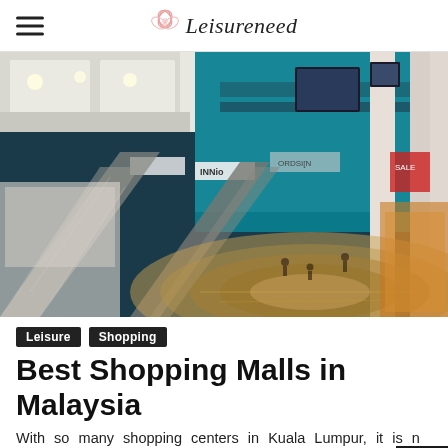Leisureneed
[Figure (photo): Interior of a large shopping mall in Malaysia, showing multiple floors with escalators, stores, and shoppers. Teal and warm lighting. Circular floor pattern visible.]
Leisure
Shopping
Best Shopping Malls in Malaysia
With so many shopping centers in Kuala Lumpur, it is not surprising that this is a place that considers retail therapy serious. Over eight major shopping malls can be found within